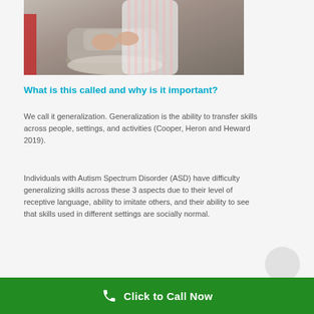[Figure (photo): Child tying shoelaces, wearing white striped leggings and sneakers, sitting on a step with a red rail]
What is this called and why is it important?
We call it generalization. Generalization is the ability to transfer skills across people, settings, and activities (Cooper, Heron and Heward 2019).
Individuals with Autism Spectrum Disorder (ASD) have difficulty generalizing skills across these 3 aspects due to their level of receptive language, ability to imitate others, and their ability to see that skills used in different settings are socially normal.
Children should be able to generalize these same skills...
Click to Call Now